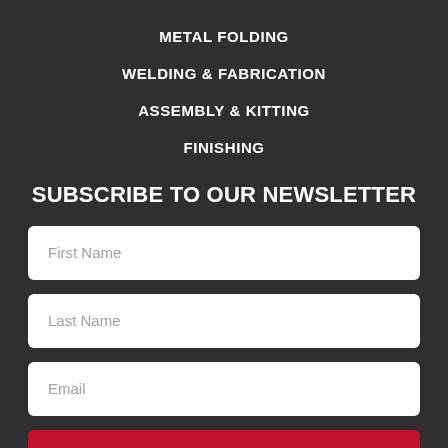METAL FOLDING
WELDING & FABRICATION
ASSEMBLY & KITTING
FINISHING
SUBSCRIBE TO OUR NEWSLETTER
First Name
Last Name
Email